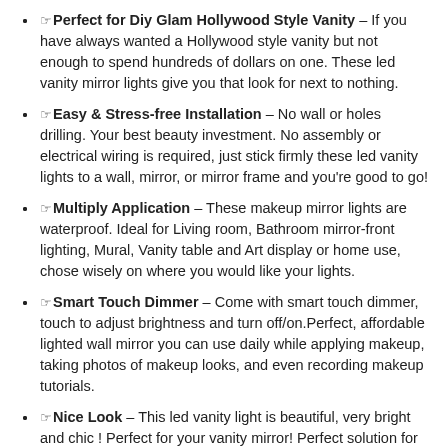☞Perfect for Diy Glam Hollywood Style Vanity – If you have always wanted a Hollywood style vanity but not enough to spend hundreds of dollars on one. These led vanity mirror lights give you that look for next to nothing.
☞Easy & Stress-free Installation – No wall or holes drilling. Your best beauty investment. No assembly or electrical wiring is required, just stick firmly these led vanity lights to a wall, mirror, or mirror frame and you're good to go!
☞Multiply Application – These makeup mirror lights are waterproof. Ideal for Living room, Bathroom mirror-front lighting, Mural, Vanity table and Art display or home use, chose wisely on where you would like your lights.
☞Smart Touch Dimmer – Come with smart touch dimmer, touch to adjust brightness and turn off/on.Perfect, affordable lighted wall mirror you can use daily while applying makeup, taking photos of makeup looks, and even recording makeup tutorials.
☞Nice Look – This led vanity light is beautiful, very bright and chic ! Perfect for your vanity mirror! Perfect solution for your search to add better lighting for your make up table.